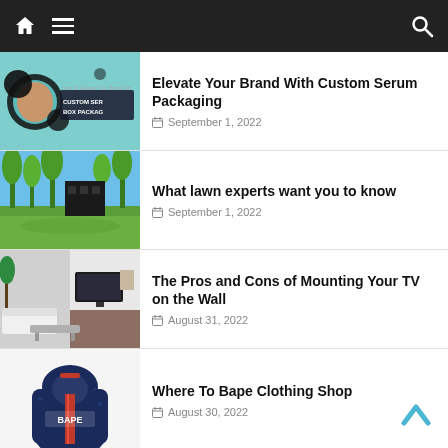Navigation bar with home, menu, and search icons
[Figure (photo): Custom serum box packaging promotional image with teal background and circular portrait]
Elevate Your Brand With Custom Serum Packaging
September 1, 2022
[Figure (photo): Green lawn with trees and modern dark building in background]
What lawn experts want you to know
September 1, 2022
[Figure (photo): Modern living room interior with wall-mounted TV]
The Pros and Cons of Mounting Your TV on the Wall
August 31, 2022
[Figure (photo): BAPE navy blue hoodie product photo]
Where To Bape Clothing Shop
August 30, 2022